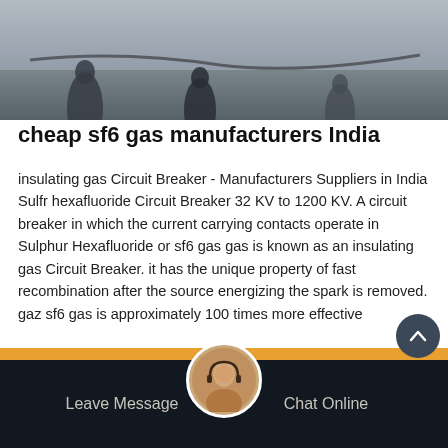[Figure (photo): Photo of workers/people in industrial setting, top of page]
cheap sf6 gas manufacturers India
insulating gas Circuit Breaker - Manufacturers Suppliers in India Sulfr hexafluoride Circuit Breaker 32 KV to 1200 KV. A circuit breaker in which the current carrying contacts operate in Sulphur Hexafluoride or sf6 gas gas is known as an insulating gas Circuit Breaker. it has the unique property of fast recombination after the source energizing the spark is removed. gaz sf6 gas is approximately 100 times more effective
Get Price
Leave Message   Chat Online